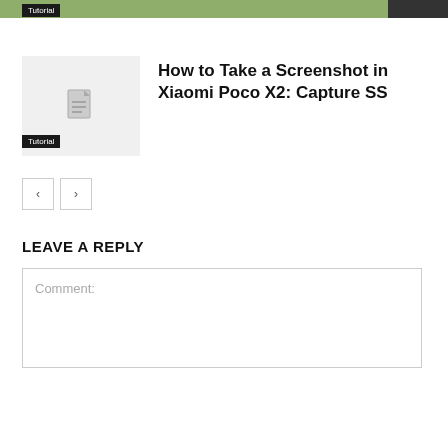Tutorial
[Figure (screenshot): Article thumbnail placeholder image with a document icon]
How to Take a Screenshot in Xiaomi Poco X2: Capture SS
Tutorial
< >
LEAVE A REPLY
Comment: